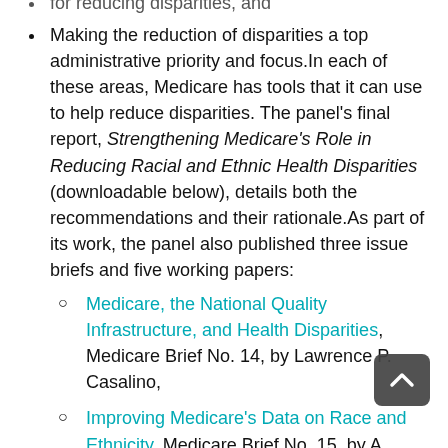for reducing disparities, and
Making the reduction of disparities a top administrative priority and focus. In each of these areas, Medicare has tools that it can use to help reduce disparities. The panel's final report, Strengthening Medicare's Role in Reducing Racial and Ethnic Health Disparities (downloadable below), details both the recommendations and their rationale. As part of its work, the panel also published three issue briefs and five working papers:
Medicare, the National Quality Infrastructure, and Health Disparities, Medicare Brief No. 14, by Lawrence P. Casalino,
Improving Medicare's Data on Race and Ethnicity, Medicare Brief No. 15, by A. Marshall McBean,